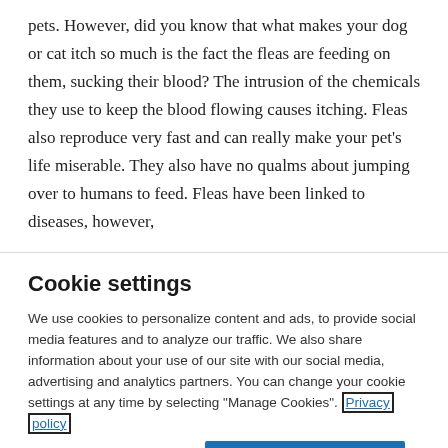pets. However, did you know that what makes your dog or cat itch so much is the fact the fleas are feeding on them, sucking their blood? The intrusion of the chemicals they use to keep the blood flowing causes itching. Fleas also reproduce very fast and can really make your pet's life miserable. They also have no qualms about jumping over to humans to feed. Fleas have been linked to diseases, however,
Cookie settings
We use cookies to personalize content and ads, to provide social media features and to analyze our traffic. We also share information about your use of our site with our social media, advertising and analytics partners. You can change your cookie settings at any time by selecting "Manage Cookies". Privacy policy
Cookies Settings
Accept All Cookies